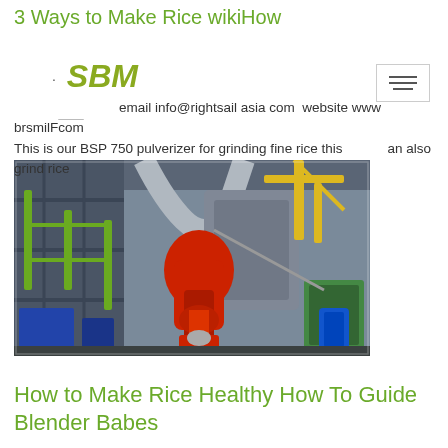3 Ways to Make Rice wikiHow
[Figure (logo): SBM logo text in green/olive bold letters]
· email info@rightsail asia com website www brsmilF=om
This is our BSP 750 pulverizer for grinding fine rice this an also grind rice
[Figure (photo): Industrial milling/pulverizer factory interior showing large machinery with red robotic arm, metal pipes, green scaffolding, and blue equipment in a warehouse setting]
How to Make Rice Healthy How To Guide Blender Babes